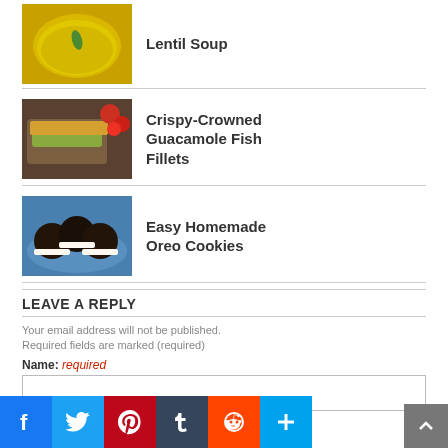[Figure (photo): Lentil Soup - yellow/golden soup with green herb]
Lentil Soup
[Figure (photo): Crispy-Crowned Guacamole Fish Fillets - fish with tomatoes and crunchy topping]
Crispy-Crowned Guacamole Fish Fillets
[Figure (photo): Easy Homemade Oreo Cookies - dark chocolate sandwich cookies on blue plate]
Easy Homemade Oreo Cookies
LEAVE A REPLY
Your email address will not be published. Required fields are marked (required)
Name: required
Email: required
[Figure (infographic): Social share bar with Facebook, Twitter, Pinterest, Tumblr, Reddit, and More buttons]